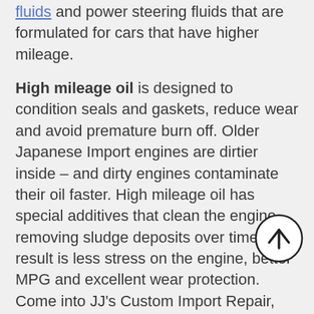fluids and power steering fluids that are formulated for cars that have higher mileage.
High mileage oil is designed to condition seals and gaskets, reduce wear and avoid premature burn off. Older Japanese Import engines are dirtier inside – and dirty engines contaminate their oil faster. High mileage oil has special additives that clean the engine, removing sludge deposits over time. The result is less stress on the engine, better MPG and excellent wear protection. Come into JJ's Custom Import Repair, Inc. in Jacksonville for a checkup.
Studies have even shown that using high mileage fluids early will actually prevent
[Figure (other): Circular scroll-to-top button with upward arrow icon]